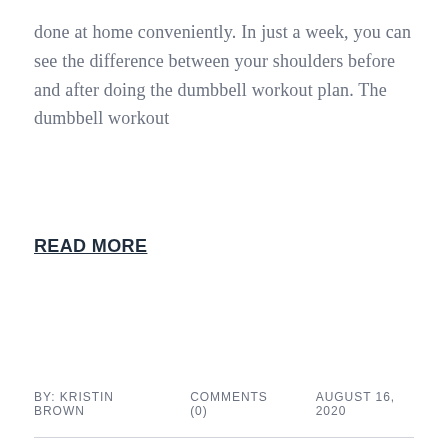done at home conveniently. In just a week, you can see the difference between your shoulders before and after doing the dumbbell workout plan. The dumbbell workout
READ MORE
BY: KRISTIN BROWN   COMMENTS (0)   AUGUST 16, 2020